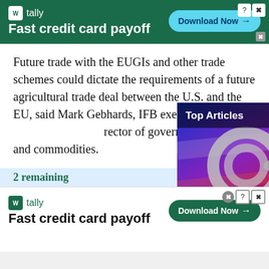[Figure (infographic): Tally app advertisement banner (dark green background). Logo with 'tally' text and 'Fast credit card payoff' tagline. 'Download Now' button with arrow. Help and close controls top right.]
Future trade with the EUGIs and other trade schemes could dictate the requirements of a future agricultural trade deal between the U.S. and the EU, said Mark Gebhards, IFB executive di[rector of government affairs and] commodities.
There is currentl[y no free trade agreement] between the two[ trading partners, b]ut
2 remaining
[Figure (screenshot): Video player overlay showing handcuffs image with colorful blue-purple-red background. 'Top Articles' label at top with dots menu and X close button. Pause, mute, and next arrow controls at bottom. Progress bar at very bottom.]
[Figure (infographic): Tally app advertisement banner (white background). Dark green logo with 'tally' text and 'Fast credit card payoff' tagline. Dark green 'Download Now' button with arrow. Help, close controls top right.]